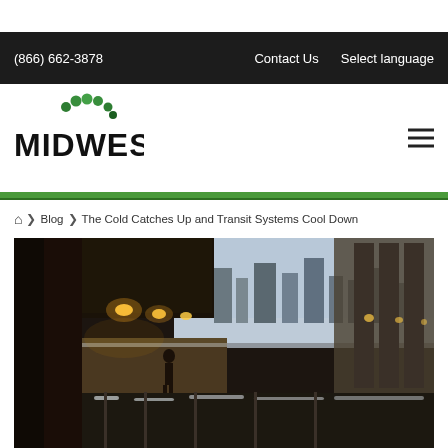(866) 662-3878 | Contact Us | Select language
[Figure (logo): Midwest company logo with green circular dots above bold black MIDWEST text]
Home > Blog > The Cold Catches Up and Transit Systems Cool Down
[Figure (photo): A snowy elevated train platform at dusk/evening with warm overhead lights illuminating the platform, snow on the tracks, and city buildings visible in the background. A lone figure stands on the platform.]